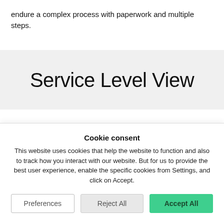endure a complex process with paperwork and multiple steps.
Service Level View
Cookie consent
This website uses cookies that help the website to function and also to track how you interact with our website. But for us to provide the best user experience, enable the specific cookies from Settings, and click on Accept.
Preferences | Reject All | Accept All